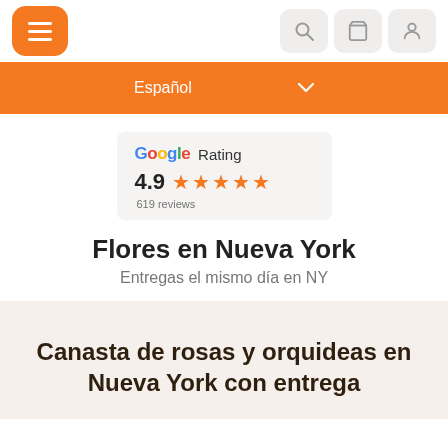[Figure (screenshot): Navigation bar with orange hamburger menu button on left, and three icon buttons (search, cart, user) on right with light gray background]
[Figure (screenshot): Orange language selector dropdown showing 'Español' with chevron]
[Figure (screenshot): Google Rating badge showing 4.9 stars with 619 reviews]
Flores en Nueva York
Entregas el mismo día en NY
Canasta de rosas y orquideas en Nueva York con entrega